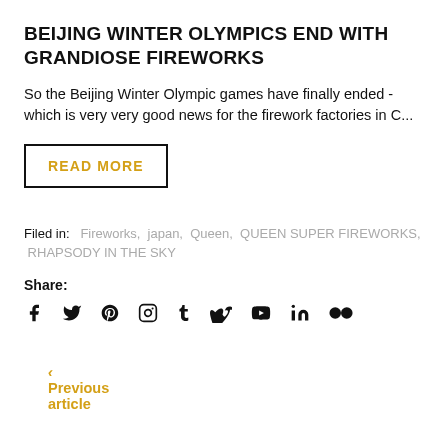BEIJING WINTER OLYMPICS END WITH GRANDIOSE FIREWORKS
So the Beijing Winter Olympic games have finally ended - which is very very good news for the firework factories in C...
READ MORE
Filed in:  Fireworks,  japan,  Queen,  QUEEN SUPER FIREWORKS,  RHAPSODY IN THE SKY
Share:
[Figure (illustration): Social media share icons: Facebook, Twitter, Pinterest, Instagram, Tumblr, Vimeo, YouTube, LinkedIn, Flickr]
< Previous article